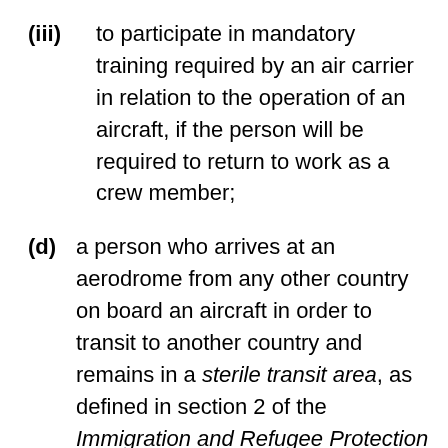(iii) to participate in mandatory training required by an air carrier in relation to the operation of an aircraft, if the person will be required to return to work as a crew member;
(d) a person who arrives at an aerodrome from any other country on board an aircraft in order to transit to another country and remains in a sterile transit area, as defined in section 2 of the Immigration and Refugee Protection Regulations, of the aerodrome until they leave Canada;